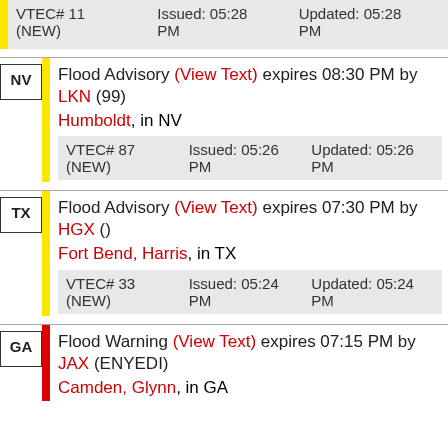VTEC# 11 (NEW)   Issued: 05:28 PM   Updated: 05:28 PM
NV — Flood Advisory (View Text) expires 08:30 PM by LKN (99) Humboldt, in NV — VTEC# 87 (NEW) Issued: 05:26 PM Updated: 05:26 PM
TX — Flood Advisory (View Text) expires 07:30 PM by HGX () Fort Bend, Harris, in TX — VTEC# 33 (NEW) Issued: 05:24 PM Updated: 05:24 PM
GA — Flood Warning (View Text) expires 07:15 PM by JAX (ENYEDI) Camden, Glynn, in GA